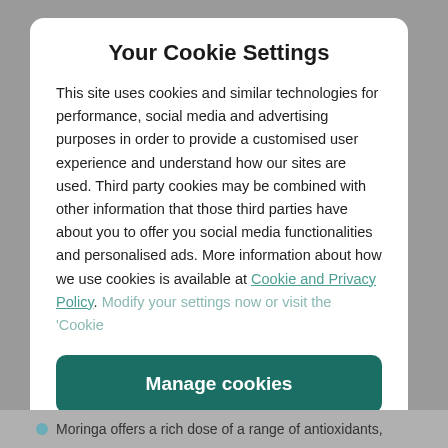Your Cookie Settings
This site uses cookies and similar technologies for performance, social media and advertising purposes in order to provide a customised user experience and understand how our sites are used. Third party cookies may be combined with other information that those third parties have about you to offer you social media functionalities and personalised ads. More information about how we use cookies is available at Cookie and Privacy Policy. Modify your settings now or visit the ‘Cookie
Manage cookies
Yes I accept
Moringa offers a rich dose of a range of antioxidants,